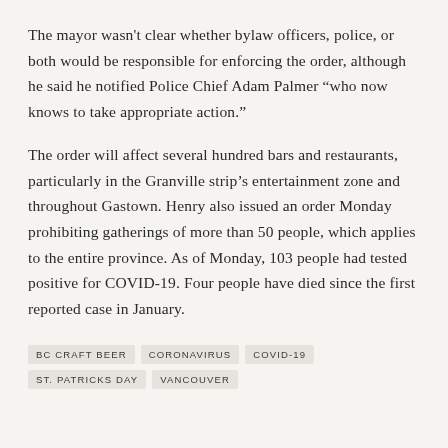The mayor wasn't clear whether bylaw officers, police, or both would be responsible for enforcing the order, although he said he notified Police Chief Adam Palmer “who now knows to take appropriate action.”
The order will affect several hundred bars and restaurants, particularly in the Granville strip’s entertainment zone and throughout Gastown. Henry also issued an order Monday prohibiting gatherings of more than 50 people, which applies to the entire province. As of Monday, 103 people had tested positive for COVID-19. Four people have died since the first reported case in January.
BC CRAFT BEER
CORONAVIRUS
COVID-19
ST. PATRICKS DAY
VANCOUVER